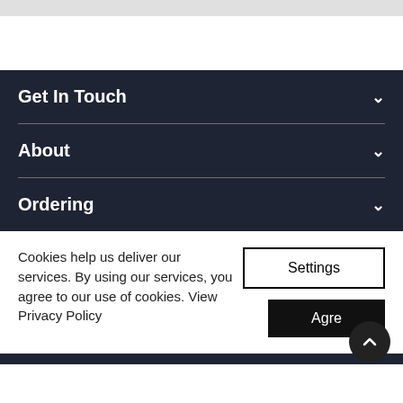Get In Touch
About
Ordering
Cookies help us deliver our services. By using our services, you agree to our use of cookies. View Privacy Policy
Settings
Agre